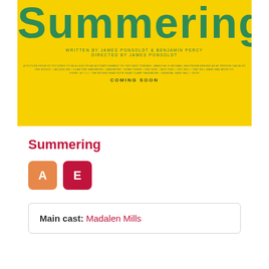[Figure (photo): Movie poster for 'Summering' on a yellow background with green title text, credits reading 'Written by James Ponsoldt & Benjamin Percy, Directed by James Ponsoldt', billing block, and 'COMING SOON' text.]
Summering
[Figure (infographic): Two colored badge icons: an orange square with letter 'A' and a dark red square with letter 'E']
Main cast: Madalen Mills